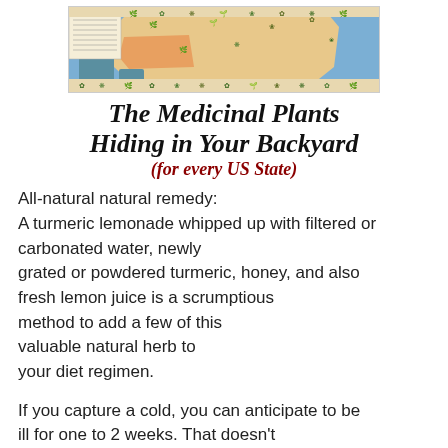[Figure (map): Illustrated map of medicinal plants in the United States, showing plant illustrations across US states with a legend panel on the left and color-coded regions.]
The Medicinal Plants Hiding in Your Backyard (for every US State)
All-natural natural remedy: A turmeric lemonade whipped up with filtered or carbonated water, newly grated or powdered turmeric, honey, and also fresh lemon juice is a scrumptious method to add a few of this valuable natural herb to your diet regimen.
If you capture a cold, you can anticipate to be ill for one to 2 weeks. That doesn't indicate you need to be